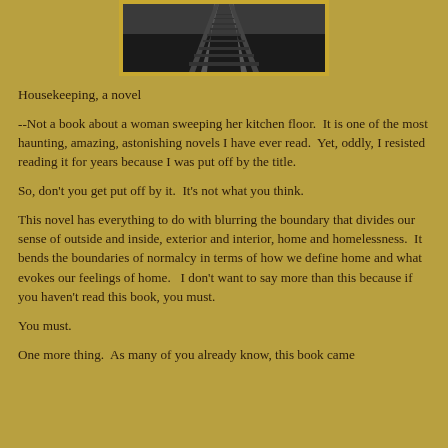[Figure (photo): Photograph of railroad tracks converging into the distance, dark grey tones, shown from above/perspective view, framed with a gold/yellow border.]
Housekeeping, a novel
--Not a book about a woman sweeping her kitchen floor.  It is one of the most haunting, amazing, astonishing novels I have ever read.  Yet, oddly, I resisted reading it for years because I was put off by the title.
So, don't you get put off by it.  It's not what you think.
This novel has everything to do with blurring the boundary that divides our sense of outside and inside, exterior and interior, home and homelessness.  It bends the boundaries of normalcy in terms of how we define home and what evokes our feelings of home.   I don't want to say more than this because if you haven't read this book, you must.
You must.
One more thing.  As many of you already know, this book came out in the 1980s. Also, yes, I do recognize the famous name...